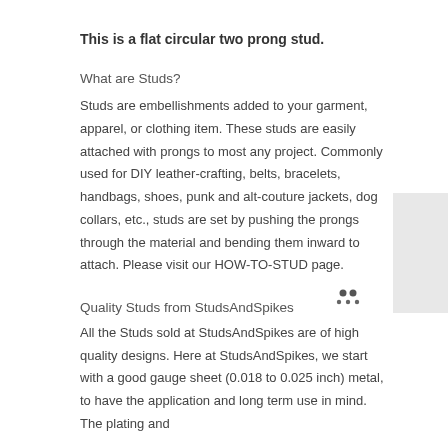This is a flat circular two prong stud.
What are Studs?
Studs are embellishments added to your garment, apparel, or clothing item. These studs are easily attached with prongs to most any project. Commonly used for DIY leather-crafting, belts, bracelets, handbags, shoes, punk and alt-couture jackets, dog collars, etc., studs are set by pushing the prongs through the material and bending them inward to attach. Please visit our HOW-TO-STUD page.
Quality Studs from StudsAndSpikes
All the Studs sold at StudsAndSpikes are of high quality designs. Here at StudsAndSpikes, we start with a good gauge sheet (0.018 to 0.025 inch) metal, to have the application and long term use in mind. The plating and